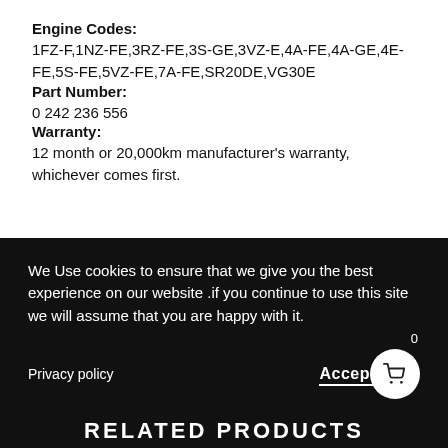Engine Codes:
1FZ-F,1NZ-FE,3RZ-FE,3S-GE,3VZ-E,4A-FE,4A-GE,4E-FE,5S-FE,5VZ-FE,7A-FE,SR20DE,VG30E
Part Number:
0 242 236 556
Warranty:
12 month or 20,000km manufacturer's warranty, whichever comes first.
We Use cookies to ensure that we give you the best experience on our website .if you continue to use this site we will assume that you are happy with it.
Privacy policy
Accept
RELATED PRODUCTS